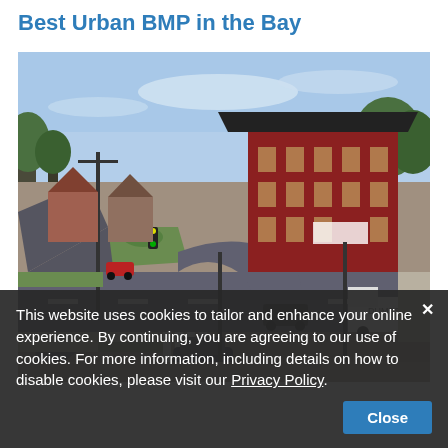Best Urban BMP in the Bay
[Figure (photo): Aerial view of an urban intersection with a red brick building, roads with vehicles, landscaped medians, and trees in the background.]
This website uses cookies to tailor and enhance your online experience. By continuing, you are agreeing to our use of cookies. For more information, including details on how to disable cookies, please visit our Privacy Policy.